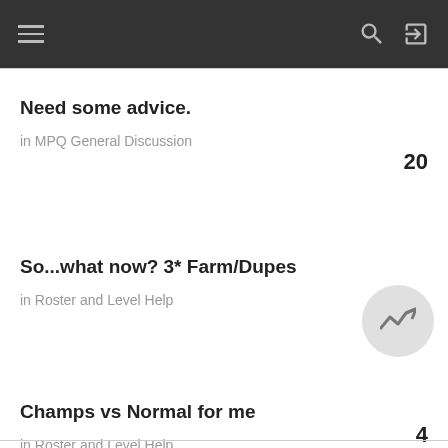Navigation bar with menu, search, and login icons
Need some advice.
in MPQ General Discussion
20
So...what now? 3* Farm/Dupes
in Roster and Level Help
Champs vs Normal for me
in Roster and Level Help
4